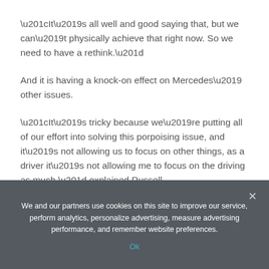“It’s all well and good saying that, but we can’t physically achieve that right now. So we need to have a rethink.”
And it is having a knock-on effect on Mercedes’ other issues.
“It’s tricky because we’re putting all of our effort into solving this porpoising issue, and it’s not allowing us to focus on other things, as a driver it’s not allowing me to focus on the driving as much,” explained Russell.
We and our partners use cookies on this site to improve our service, perform analytics, personalize advertising, measure advertising performance, and remember website preferences.
Ok